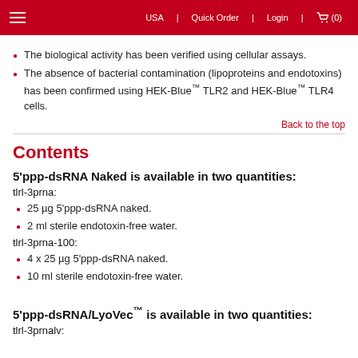USA | Quick Order | Login | (0)
The biological activity has been verified using cellular assays.
The absence of bacterial contamination (lipoproteins and endotoxins) has been confirmed using HEK-Blue™ TLR2 and HEK-Blue™ TLR4 cells.
Back to the top
Contents
5'ppp-dsRNA Naked is available in two quantities:
tlrl-3prna:
25 µg 5'ppp-dsRNA naked.
2 ml sterile endotoxin-free water.
tlrl-3prna-100:
4 x 25 µg 5'ppp-dsRNA naked.
10 ml sterile endotoxin-free water.
5'ppp-dsRNA/LyoVec™ is available in two quantities:
tlrl-3prnalv: